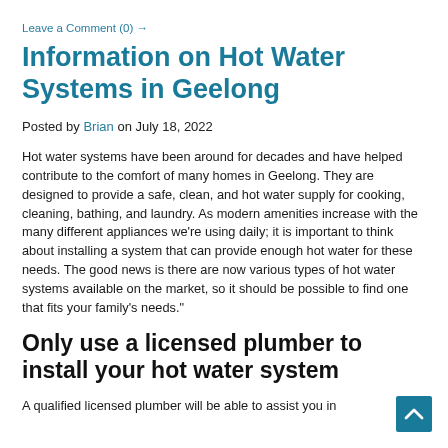Leave a Comment (0) →
Information on Hot Water Systems in Geelong
Posted by Brian on July 18, 2022
Hot water systems have been around for decades and have helped contribute to the comfort of many homes in Geelong. They are designed to provide a safe, clean, and hot water supply for cooking, cleaning, bathing, and laundry. As modern amenities increase with the many different appliances we're using daily; it is important to think about installing a system that can provide enough hot water for these needs. The good news is there are now various types of hot water systems available on the market, so it should be possible to find one that fits your family's needs."
Only use a licensed plumber to install your hot water system
A qualified licensed plumber will be able to assist you in